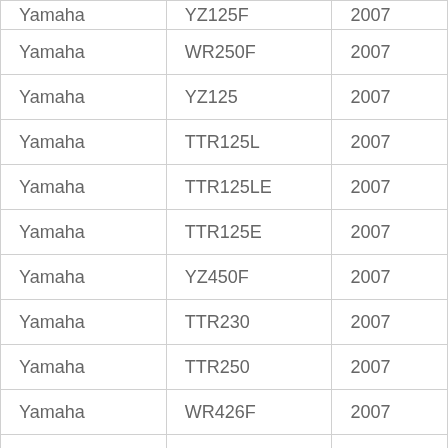| Yamaha | YZ125F | 2007 |
| Yamaha | WR250F | 2007 |
| Yamaha | YZ125 | 2007 |
| Yamaha | TTR125L | 2007 |
| Yamaha | TTR125LE | 2007 |
| Yamaha | TTR125E | 2007 |
| Yamaha | YZ450F | 2007 |
| Yamaha | TTR230 | 2007 |
| Yamaha | TTR250 | 2007 |
| Yamaha | WR426F | 2007 |